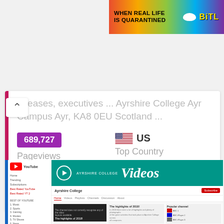[Figure (screenshot): Advertisement banner: 'WHEN REAL LIFE IS QUARANTINED' with rainbow background and BitLife logo]
releases, executives ... Ayrshire College Ayr Campus Ayr, KA8 0EU Scotland ...
689,727 Pageviews
US Top Country
Up Site Status
11h ago Last Pinged
[Figure (screenshot): YouTube page for Ayrshire College showing Videos banner in teal with channel listing]